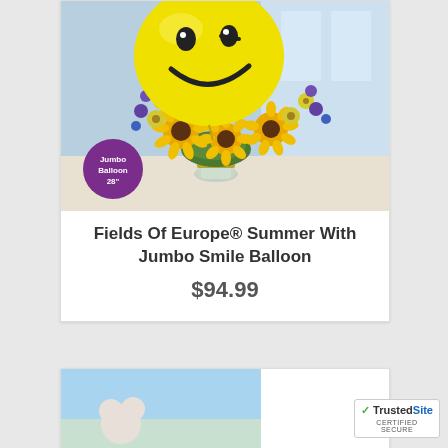[Figure (photo): Flower bouquet with sunflowers, yellow daisies, and purple flowers in a glass vase with a large yellow smiley face balloon (28 inch Jumbo Balloon). Purple circular badge overlay reads 'Jumbo Balloon 28"'. Blue background.]
Fields Of Europe® Summer With Jumbo Smile Balloon
$94.99
[Figure (photo): Partial view of another product image at the bottom of the page, light blue sky background.]
TrustedSite CERTIFIED SECURE